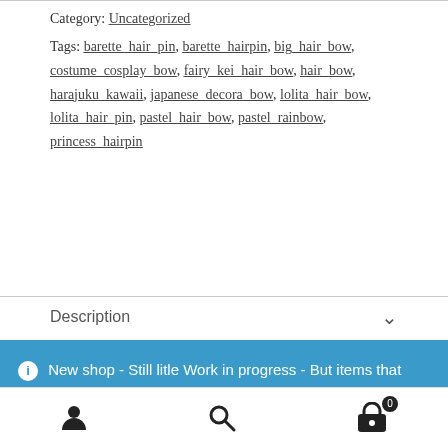Category: Uncategorized
Tags: barette_hair_pin, barette_hairpin, big_hair_bow, costume_cosplay_bow, fairy_kei_hair_bow, hair_bow, harajuku_kawaii, japanese_decora_bow, lolita_hair_bow, lolita_hair_pin, pastel_hair_bow, pastel_rainbow, princess_hairpin
Description
New shop - Still litle Work in progress - But items that has pictures are ready to be bought. Paypal checkout alive! :)
Dismiss